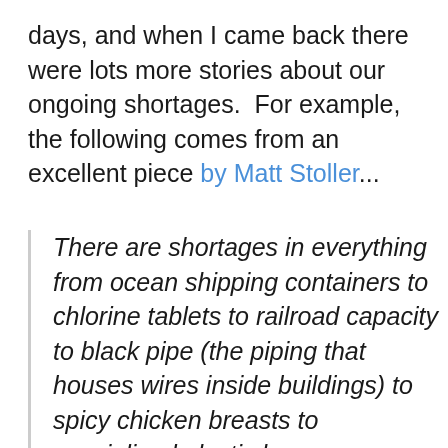days, and when I came back there were lots more stories about our ongoing shortages. For example, the following comes from an excellent piece by Matt Stoller...
There are shortages in everything from ocean shipping containers to chlorine tablets to railroad capacity to black pipe (the piping that houses wires inside buildings) to spicy chicken breasts to specialized plastic bags necessary for making vaccines. Moreover, prices for all sorts of items, from housing to food, are changing in